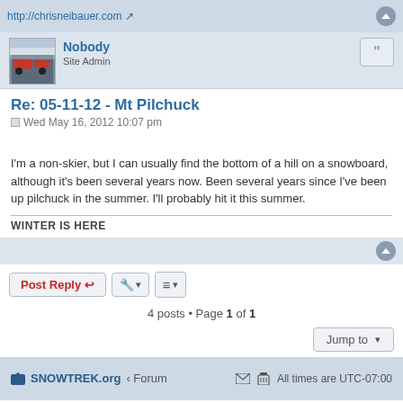http://chrisneibauer.com
Nobody
Site Admin
Re: 05-11-12 - Mt Pilchuck
Wed May 16, 2012 10:07 pm
I'm a non-skier, but I can usually find the bottom of a hill on a snowboard, although it's been several years now. Been several years since I've been up pilchuck in the summer. I'll probably hit it this summer.
WINTER IS HERE
Post Reply
4 posts • Page 1 of 1
Jump to
SNOWTREK.org • Forum   All times are UTC-07:00
Powered by phpBB® Forum Software © phpBB Limited
Privacy | Terms